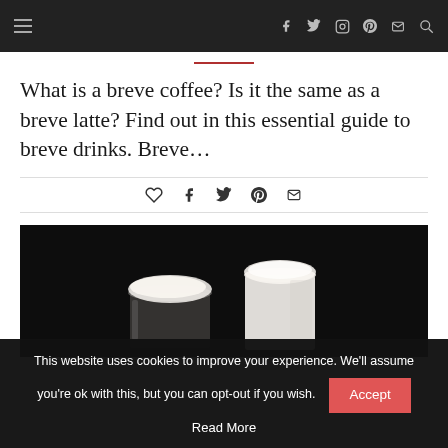Navigation bar with hamburger menu and social icons (f, twitter, instagram, pinterest, email, search)
What is a breve coffee? Is it the same as a breve latte? Find out in this essential guide to breve drinks. Breve…
[Figure (other): Social share icons row: heart, facebook, twitter, pinterest, email]
[Figure (photo): Photo of two frothy coffee latte drinks in glasses on a dark black background]
This website uses cookies to improve your experience. We'll assume you're ok with this, but you can opt-out if you wish.
Accept
Read More